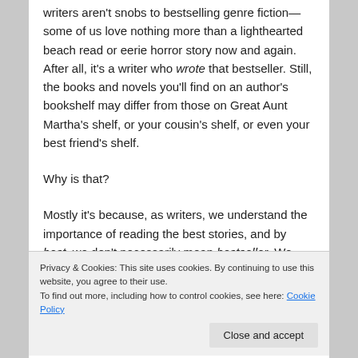writers aren't snobs to bestselling genre fiction—some of us love nothing more than a lighthearted beach read or eerie horror story now and again. After all, it's a writer who wrote that bestseller. Still, the books and novels you'll find on an author's bookshelf may differ from those on Great Aunt Martha's shelf, or your cousin's shelf, or even your best friend's shelf.
Why is that?
Mostly it's because, as writers, we understand the importance of reading the best stories, and by best, we don't necessarily mean bestseller. We mean
Privacy & Cookies: This site uses cookies. By continuing to use this website, you agree to their use.
To find out more, including how to control cookies, see here: Cookie Policy
Close and accept
perpetuity the craft of writing. We are students until